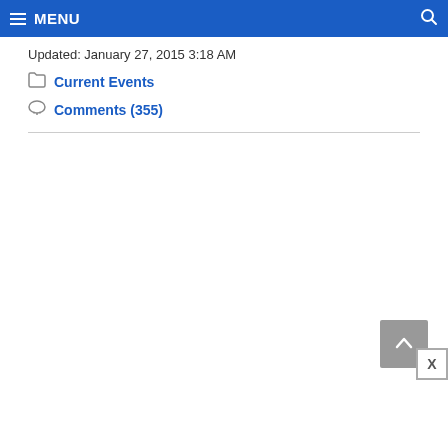MENU
Updated: January 27, 2015 3:18 AM
Current Events
Comments (355)